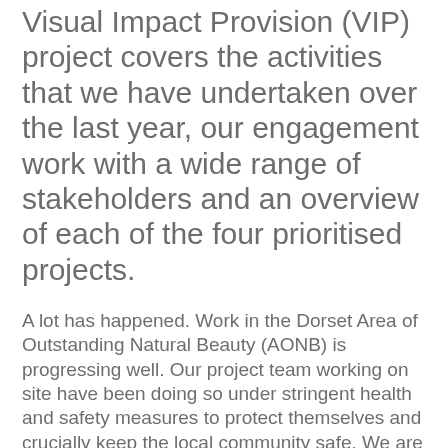The sixth annual report for the Visual Impact Provision (VIP) project covers the activities that we have undertaken over the last year, our engagement work with a wide range of stakeholders and an overview of each of the four prioritised projects.
A lot has happened. Work in the Dorset Area of Outstanding Natural Beauty (AONB) is progressing well. Our project team working on site have been doing so under stringent health and safety measures to protect themselves and crucially keep the local community safe. We are very grateful to